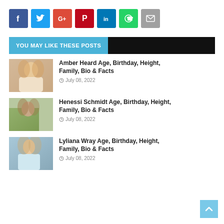[Figure (infographic): Social sharing buttons: Facebook, Twitter, Google+, Pinterest, LinkedIn, WhatsApp, Email]
YOU MAY LIKE THESE POSTS
[Figure (photo): Thumbnail photo of Amber Heard - blonde woman]
Amber Heard Age, Birthday, Height, Family, Bio & Facts
July 08, 2022
[Figure (photo): Thumbnail photo of Henessi Schmidt - young woman with brown hair in yellow top]
Henessi Schmidt Age, Birthday, Height, Family, Bio & Facts
July 08, 2022
[Figure (photo): Thumbnail photo of Lyliana Wray - young woman with long blonde hair]
Lyliana Wray Age, Birthday, Height, Family, Bio & Facts
July 08, 2022